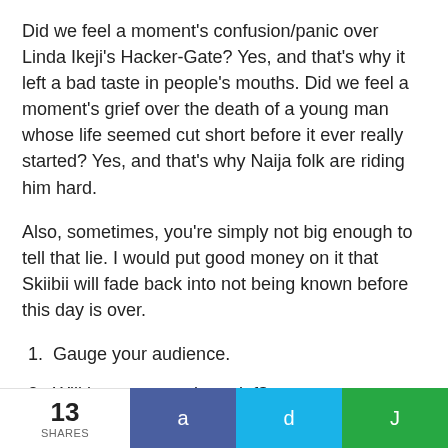Did we feel a moment's confusion/panic over Linda Ikeji's Hacker-Gate? Yes, and that's why it left a bad taste in people's mouths. Did we feel a moment's grief over the death of a young man whose life seemed cut short before it ever really started? Yes, and that's why Naija folk are riding him hard.
Also, sometimes, you're simply not big enough to tell that lie. I would put good money on it that Skiibii will fade back into not being known before this day is over.
1. Gauge your audience.
2. Will it cause genuine grief?
3. What are you hoping to get out of it?
13 SHARES  a  d  J